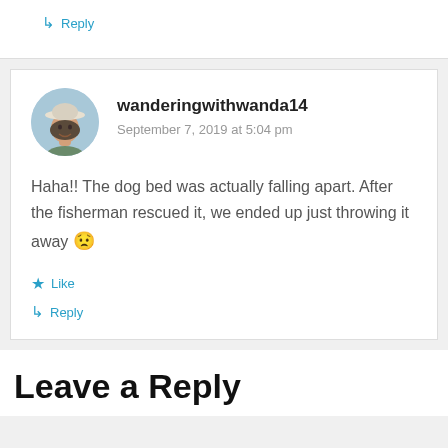↳ Reply
wanderingwithwanda14
September 7, 2019 at 5:04 pm

Haha!! The dog bed was actually falling apart. After the fisherman rescued it, we ended up just throwing it away 😟

★ Like
↳ Reply
Leave a Reply